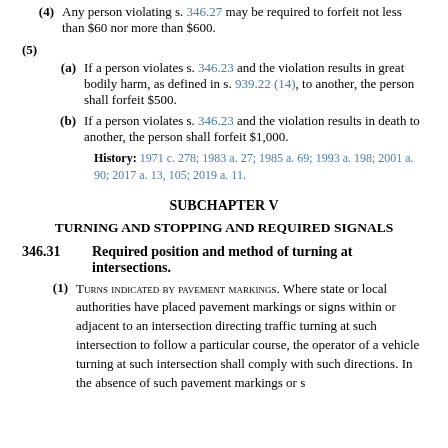(4) Any person violating s. 346.27 may be required to forfeit not less than $60 nor more than $600.
(5)
(a) If a person violates s. 346.23 and the violation results in great bodily harm, as defined in s. 939.22 (14), to another, the person shall forfeit $500.
(b) If a person violates s. 346.23 and the violation results in death to another, the person shall forfeit $1,000.
History: 1971 c. 278; 1983 a. 27; 1985 a. 69; 1993 a. 198; 2001 a. 90; 2017 a. 13, 105; 2019 a. 11.
SUBCHAPTER V
TURNING AND STOPPING AND REQUIRED SIGNALS
346.31 Required position and method of turning at intersections.
(1) TURNS INDICATED BY PAVEMENT MARKINGS. Where state or local authorities have placed pavement markings or signs within or adjacent to an intersection directing traffic turning at such intersection to follow a particular course, the operator of a vehicle turning at such intersection shall comply with such directions. In the absence of such pavement markings or s...